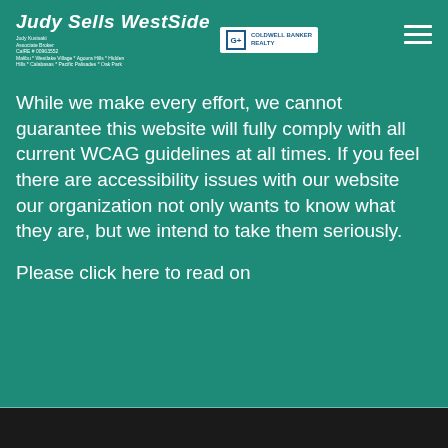Judy Sells WestSide | Judy Kusisaki Associate Broker CalRE # 00963552 Malibu * Westlake Village * Agoura Hills * Hidden Hills * Calabasas * Pacific Palisades * Oak Park | Coldwell Banker Realty
While we make every effort, we cannot guarantee this website will fully comply with all current WCAG guidelines at all times. If you feel there are accessibility issues with our website our organization not only wants to know what they are, but we intend to take them seriously.
Please click here to read on